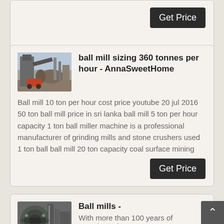Get Price
[Figure (photo): Industrial ball mill machinery at a facility]
ball mill sizing 360 tonnes per hour - AnnaSweetHome
Ball mill 10 ton per hour cost price youtube 20 jul 2016 50 ton ball mill price in sri lanka ball mill 5 ton per hour capacity 1 ton ball miller machine is a professional manufacturer of grinding mills and stone crushers used 1 ton ball ball mill 20 ton capacity coal surface mining
Get Price
[Figure (photo): Industrial ball mills machinery close-up]
Ball mills -
With more than 100 years of experience i